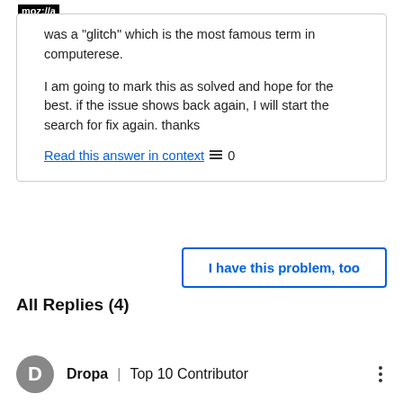moz://a
was a "glitch" which is the most famous term in computerese.

I am going to mark this as solved and hope for the best. if the issue shows back again, I will start the search for fix again. thanks
Read this answer in context  0
I have this problem, too
All Replies (4)
Dropa  |  Top 10 Contributor